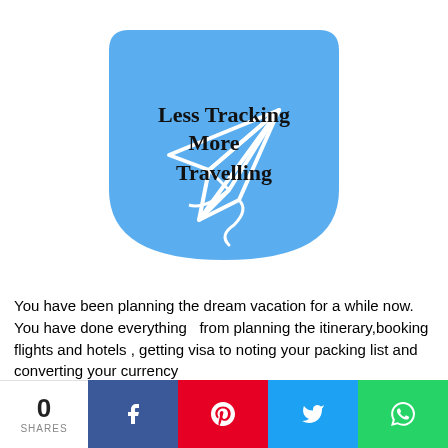[Figure (logo): Blue shield/badge shaped logo with a paper airplane illustration and handwritten text 'Less Tracking More Travelling']
You have been planning the dream vacation for a while now.
You have done everything  from planning the itinerary,booking flights and hotels , getting visa to noting your packing list and converting your currency
0 SHARES | Facebook | Pinterest | Twitter | WhatsApp